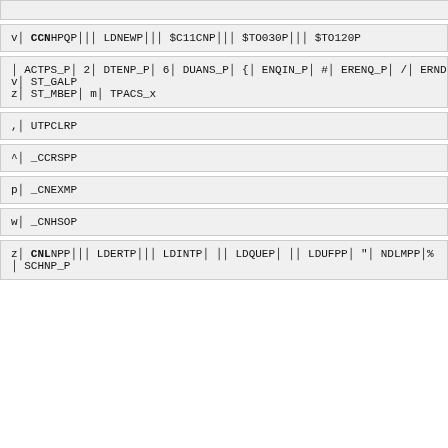v│ CCNHPQP│││ LDNEWP│││ $C11CNP│││ $TO030P│││ $TO120P
│ ACTPS_P│ 2│ DTENP_P│ 6│ DUANS_P│ {│ ENQIN_P│ #│ ERENQ_P│ /│ ERND
v│ ST_GALP
z│ ST_MBEP│ m│ TPACS_x
,│ UTPCLRP
^│ _CCRSPP
p│ _CNEXMP
w│ _CNHSOP
z│ CNLNPP│││ LDERTP│││ LDINTP│ ││ LDQUEP│ ││ LDUFPP│ "│ NDLMPP│%
│ SCHNP_P